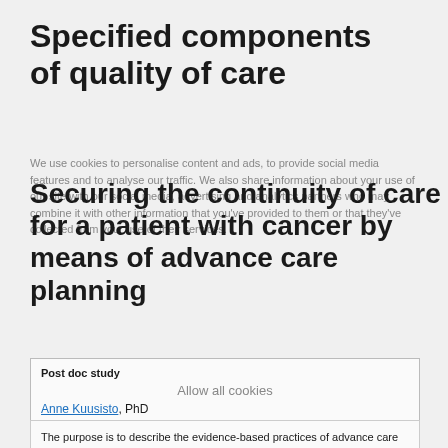Specified components of quality of care
We use cookies to personalise content and ads, to provide social media features and to analyse our traffic. We also share information about your use of our site with our social media, advertising and analytics partners who may combine it with other information that you've provided to them or that they've collected from your use of their services.
Securing the continuity of care for a patient with cancer by means of advance care planning
Post doc study
Allow all cookies
Anne Kuusisto, PhD
The purpose is to describe the evidence-based practices of advance care planning (ACP) in terms of data content, data